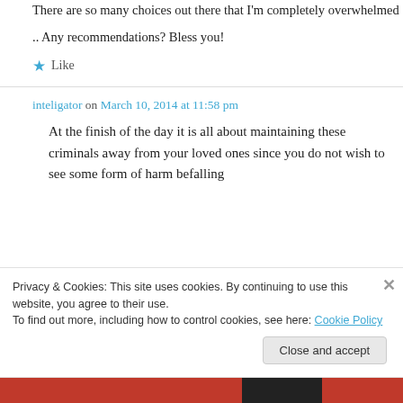There are so many choices out there that I'm completely overwhelmed
.. Any recommendations? Bless you!
★ Like
inteligator on March 10, 2014 at 11:58 pm
At the finish of the day it is all about maintaining these criminals away from your loved ones since you do not wish to see some form of harm befalling
Privacy & Cookies: This site uses cookies. By continuing to use this website, you agree to their use.
To find out more, including how to control cookies, see here: Cookie Policy